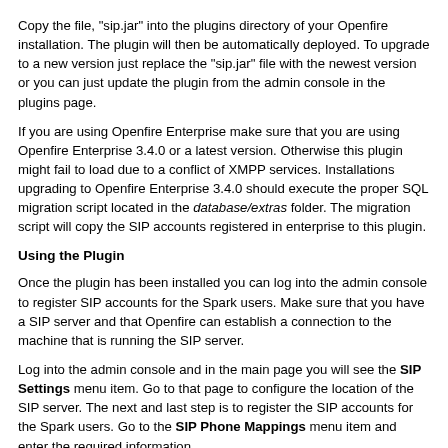Copy the file, "sip.jar" into the plugins directory of your Openfire installation. The plugin will then be automatically deployed. To upgrade to a new version just replace the "sip.jar" file with the newest version or you can just update the plugin from the admin console in the plugins page.
If you are using Openfire Enterprise make sure that you are using Openfire Enterprise 3.4.0 or a latest version. Otherwise this plugin might fail to load due to a conflict of XMPP services. Installations upgrading to Openfire Enterprise 3.4.0 should execute the proper SQL migration script located in the database/extras folder. The migration script will copy the SIP accounts registered in enterprise to this plugin.
Using the Plugin
Once the plugin has been installed you can log into the admin console to register SIP accounts for the Spark users. Make sure that you have a SIP server and that Openfire can establish a connection to the machine that is running the SIP server.
Log into the admin console and in the main page you will see the SIP Settings menu item. Go to that page to configure the location of the SIP server. The next and last step is to register the SIP accounts for the Spark users. Go to the SIP Phone Mappings menu item and enter the required information.
Once you have registered the SIP accounts for the Spark users you are ready to go. Make sure that Spark has the SIP phone plugin installed. You can install the SIP phone plugin in Spark from the Spark --> Plugins menu option.